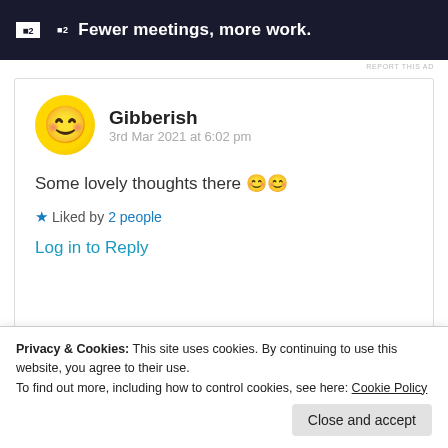[Figure (screenshot): Advertisement banner for Plan 2 with dark background and tagline 'Fewer meetings, more work.']
REPORT THIS AD
Gibberish
3rd Mar 2021 at 6:02 pm
Some lovely thoughts there 😊😊
★ Liked by 2 people
Log in to Reply
Privacy & Cookies: This site uses cookies. By continuing to use this website, you agree to their use.
To find out more, including how to control cookies, see here: Cookie Policy
Close and accept
3rd Mar 2021 at 6:15 pm